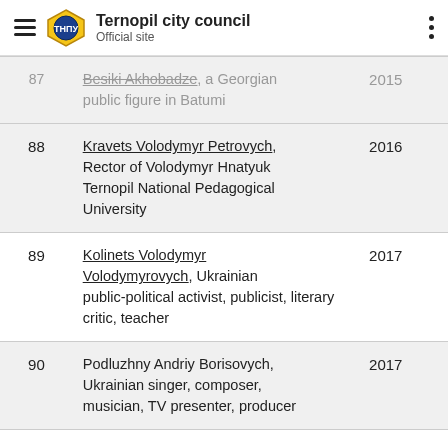Ternopil city council — Official site
| # | Name / Description | Year |
| --- | --- | --- |
| 87 (partial) | [Besiki Akhobadze], a Georgian public figure in Batumi | 2015 (partial) |
| 88 | Kravets Volodymyr Petrovych, Rector of Volodymyr Hnatyuk Ternopil National Pedagogical University | 2016 |
| 89 | Kolinets Volodymyr Volodymyrovych, Ukrainian public-political activist, publicist, literary critic, teacher | 2017 |
| 90 | Podluzhny Andriy Borisovych, Ukrainian singer, composer, musician, TV presenter, producer | 2017 |